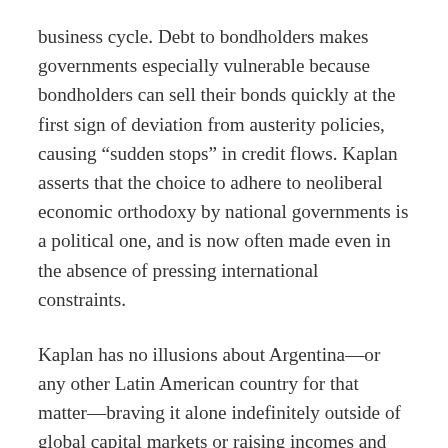business cycle. Debt to bondholders makes governments especially vulnerable because bondholders can sell their bonds quickly at the first sign of deviation from austerity policies, causing “sudden stops” in credit flows. Kaplan asserts that the choice to adhere to neoliberal economic orthodoxy by national governments is a political one, and is now often made even in the absence of pressing international constraints.
Kaplan has no illusions about Argentina—or any other Latin American country for that matter—braving it alone indefinitely outside of global capital markets or raising incomes and reducing poverty through inflationary growth. A former senior economic analyst